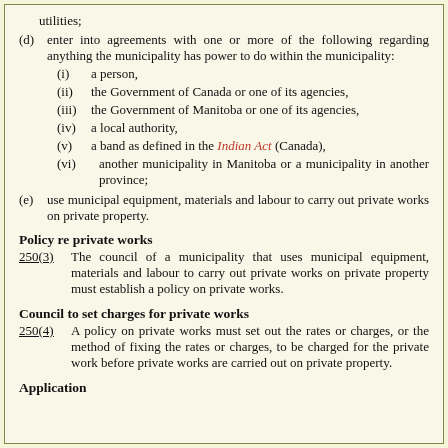utilities;
(d) enter into agreements with one or more of the following regarding anything the municipality has power to do within the municipality:
(i) a person,
(ii) the Government of Canada or one of its agencies,
(iii) the Government of Manitoba or one of its agencies,
(iv) a local authority,
(v) a band as defined in the Indian Act (Canada),
(vi) another municipality in Manitoba or a municipality in another province;
(e) use municipal equipment, materials and labour to carry out private works on private property.
Policy re private works
250(3) The council of a municipality that uses municipal equipment, materials and labour to carry out private works on private property must establish a policy on private works.
Council to set charges for private works
250(4) A policy on private works must set out the rates or charges, or the method of fixing the rates or charges, to be charged for the private work before private works are carried out on private property.
Application